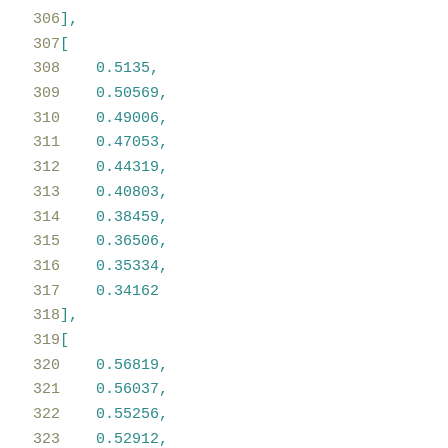306    ],
307    [
308        0.5135,
309        0.50569,
310        0.49006,
311        0.47053,
312        0.44319,
313        0.40803,
314        0.38459,
315        0.36506,
316        0.35334,
317        0.34162
318    ],
319    [
320        0.56819,
321        0.56037,
322        0.55256,
323        0.52912,
324        0.50569,
325        0.46662,
326        0.43928,